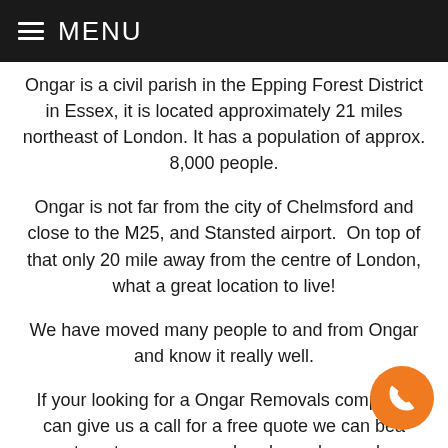MENU
Ongar is a civil parish in the Epping Forest District in Essex, it is located approximately 21 miles northeast of London. It has a population of approx. 8,000 people.
Ongar is not far from the city of Chelmsford and close to the M25, and Stansted airport.  On top of that only 20 mile away from the centre of London, what a great location to live!
We have moved many people to and from Ongar and know it really well.
If your looking for a Ongar Removals company, can give us a call for a free quote we can bea most quotes as our overheads are low and we